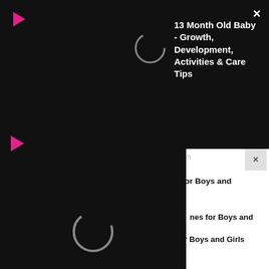[Figure (screenshot): Screenshot of a mobile browser/app showing two video player overlays (both black with loading spinner and red play icon) on top of an article listing page about baby topics. Top video is titled '13 Month Old Baby - Growth, Development, Activities & Care Tips'. Article rows show 'Popular Chinese Baby Names for Boys and ...' and 'Popular German Baby Names for Boys and Girls With Meanings'. Bottom navigation bar shows SHOPPING | toggle | PARENTING.]